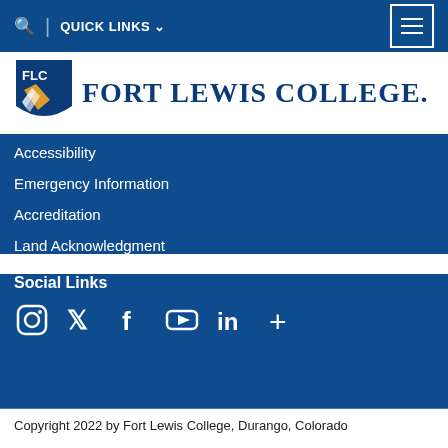QUICK LINKS
[Figure (logo): Fort Lewis College logo with FLC shield and college name in navy blue]
Accessibility
Emergency Information
Accreditation
Land Acknowledgment
Social Links
[Figure (illustration): Social media icons: Instagram, Twitter, Facebook, YouTube, LinkedIn, plus sign]
Copyright 2022 by Fort Lewis College, Durango, Colorado